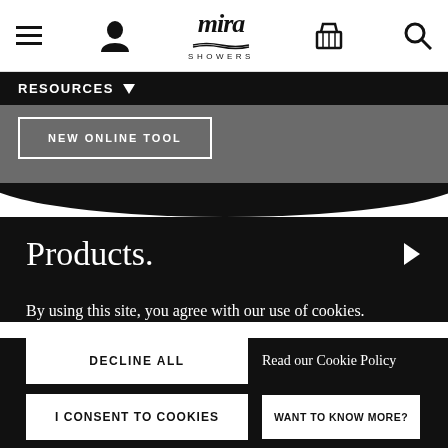Mira Showers — navigation header with hamburger menu, user icon, logo, cart, and search
RESOURCES ↓
NEW ONLINE TOOL
Products.
By using this site, you agree with our use of cookies.
Read our Cookie Policy
DECLINE ALL
I CONSENT TO COOKIES
WANT TO KNOW MORE?